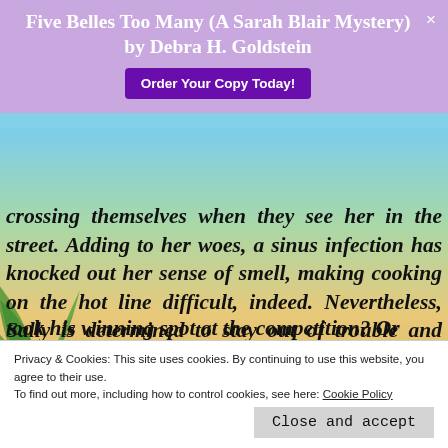Five Belles Too Many (A Sarah Blair Mystery) by Debra H. Goldstein   Order Your Copy Today!
crossing themselves when they see her in the street. Adding to her woes, a sinus infection has knocked out her sense of smell, making cooking on the hot line difficult, indeed. Nevertheless, Sally is determined to stay out of trouble and focus on her work.
But then, her old acquaintance Neil Lerici, is ... took his winning spot at the competition? Or
Privacy & Cookies: This site uses cookies. By continuing to use this website, you agree to their use.
To find out more, including how to control cookies, see here: Cookie Policy
Close and accept